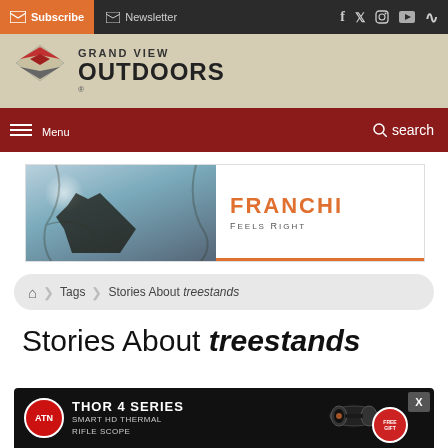Subscribe  Newsletter  [social icons: f, twitter, instagram, youtube, rss]
[Figure (logo): Grand View Outdoors logo with diamond-shaped chevron icon in red/grey and bold text GRAND VIEW OUTDOORS]
Menu  search
[Figure (photo): Franchi Feels Right advertisement banner showing a hunter in a tree with sunburst, orange FRANCHI FEELS RIGHT branding]
🏠 > Tags > Stories About treestands
Stories About treestands
[Figure (photo): ATN Thor 4 Series Smart HD Thermal Rifle Scope advertisement banner with red ATN logo, scope image, and free gift badge]